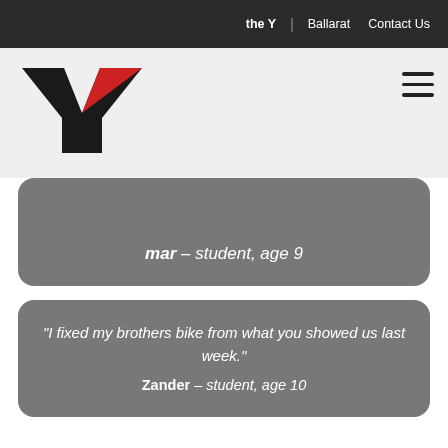the Y | Ballarat   Contact Us
[Figure (logo): The Y (YMCA) logo with black and red Y shape and 'the' text beneath, on light grey background]
mar – student, age 9
"I fixed my brothers bike from what you showed us last week." Zander – student, age 10
Quotes from staff...
"We noticed that students participating in ReCranked became more engaged with school, were more positive and had